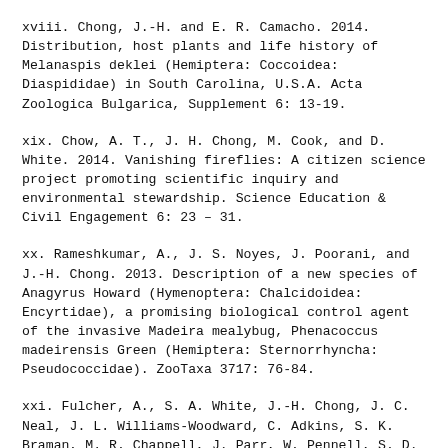xviii. Chong, J.-H. and E. R. Camacho. 2014. Distribution, host plants and life history of Melanaspis deklei (Hemiptera: Coccoidea: Diaspididae) in South Carolina, U.S.A. Acta Zoologica Bulgarica, Supplement 6: 13-19.
xix. Chow, A. T., J. H. Chong, M. Cook, and D. White. 2014. Vanishing fireflies: A citizen science project promoting scientific inquiry and environmental stewardship. Science Education & Civil Engagement 6: 23 – 31.
xx. Rameshkumar, A., J. S. Noyes, J. Poorani, and J.-H. Chong. 2013. Description of a new species of Anagyrus Howard (Hymenoptera: Chalcidoidea: Encyrtidae), a promising biological control agent of the invasive Madeira mealybug, Phenacoccus madeirensis Green (Hemiptera: Sternorrhyncha: Pseudococcidae). ZooTaxa 3717: 76-84.
xxi. Fulcher, A., S. A. White, J.-H. Chong, J. C. Neal, J. L. Williams-Woodward, C. Adkins, S. K. Braman, M. R. Chappell, J. Parr, W. Pennell, S. D. Frank, S. A. Gill, F.